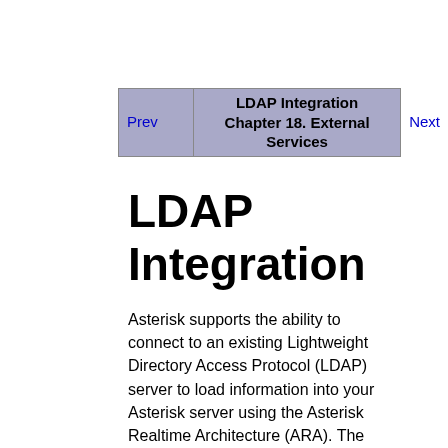LDAP Integration | Chapter 18. External Services | Prev | Next
LDAP Integration
Asterisk supports the ability to connect to an existing Lightweight Directory Access Protocol (LDAP) server to load information into your Asterisk server using the Asterisk Realtime Architecture (ARA). The advantage of integrating Asterisk and LDAP will become immediately